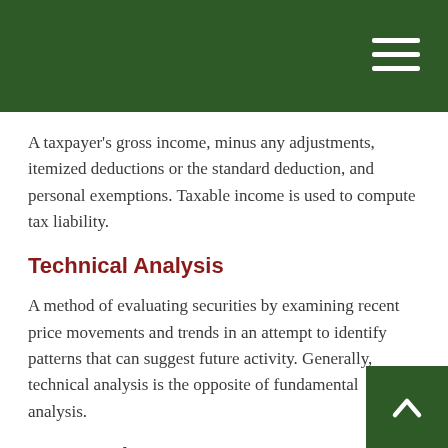A taxpayer's gross income, minus any adjustments, itemized deductions or the standard deduction, and personal exemptions. Taxable income is used to compute tax liability.
Technical Analysis
A method of evaluating securities by examining recent price movements and trends in an attempt to identify patterns that can suggest future activity. Generally, technical analysis is the opposite of fundamental analysis.
Tenancy in Common
A form of property ownership under which two or more people have an undivided interest in the property and in which the interest of a deceased owner passes to